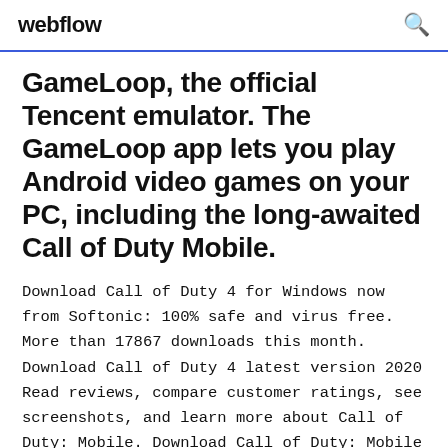webflow
GameLoop, the official Tencent emulator. The GameLoop app lets you play Android video games on your PC, including the long-awaited Call of Duty Mobile.
Download Call of Duty 4 for Windows now from Softonic: 100% safe and virus free. More than 17867 downloads this month. Download Call of Duty 4 latest version 2020 Read reviews, compare customer ratings, see screenshots, and learn more about Call of Duty: Mobile. Download Call of Duty: Mobile and enjoy it on your iPhone, iPad, and iPod touch. How to Download & Install Call of Duty Mobile On PC!